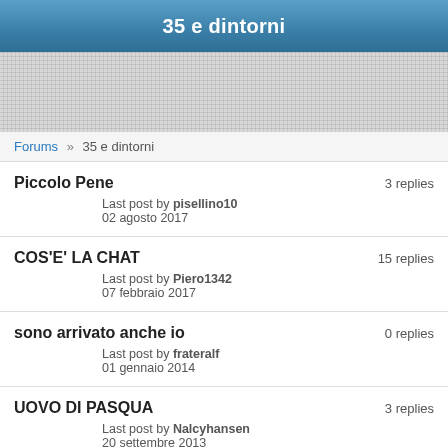35 e dintorni
[Figure (other): Banner/advertisement placeholder with dotted grid pattern]
Forums » 35 e dintorni
Piccolo Pene — 3 replies — Last post by pisellino10 — 02 agosto 2017
COS'E' LA CHAT — 15 replies — Last post by Piero1342 — 07 febbraio 2017
sono arrivato anche io — 0 replies — Last post by frateralf — 01 gennaio 2014
UOVO DI PASQUA — 3 replies — Last post by Nalcyhansen — 20 settembre 2013
Il mio uomo desidera altre donne — 8 replies